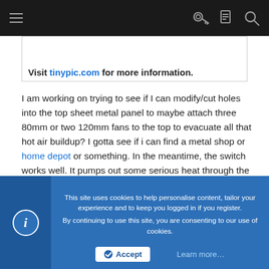Navigation bar with menu, key, document, and search icons
[Figure (other): Image placeholder box with text: Visit tinypic.com for more information.]
I am working on trying to see if I can modify/cut holes into the top sheet metal panel to maybe attach three 80mm or two 120mm fans to the top to evacuate all that hot air buildup? I gotta see if i can find a metal shop or home depot or something. In the meantime, the switch works well. It pumps out some serious heat through the vents though! Eh, place the switch near your feet to have a warmer. Dual purpose!
Just kidding....
Enjoy the silence my friends.
This site uses cookies to help personalise content, tailor your experience and to keep you logged in if you register.
By continuing to use this site, you are consenting to our use of cookies.